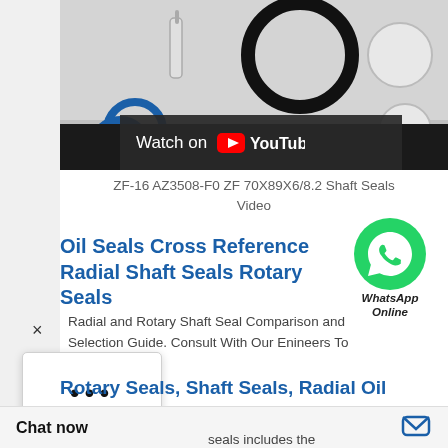[Figure (screenshot): YouTube video thumbnail showing o-ring/shaft seal packaging with 'Watch on YouTube' overlay button. Video is for ZF-16 AZ3508-F0 ZF 70X89X6/8.2 Shaft Seals.]
ZF-16 AZ3508-F0 ZF 70X89X6/8.2 Shaft Seals Video
[Figure (logo): WhatsApp green phone icon with 'WhatsApp Online' text]
Oil Seals Cross Reference Radial Shaft Seals Rotary Seals
Radial and Rotary Shaft Seal Comparison and Selection Guide. Consult With Our Enineers To n More.
[Figure (screenshot): Three dots popup menu box (browser UI element) with X close button]
Rotary Seals, Shaft Seals, Radial Oil
seals includes the
[Figure (screenshot): Chat now bar at bottom with speech bubble icon]